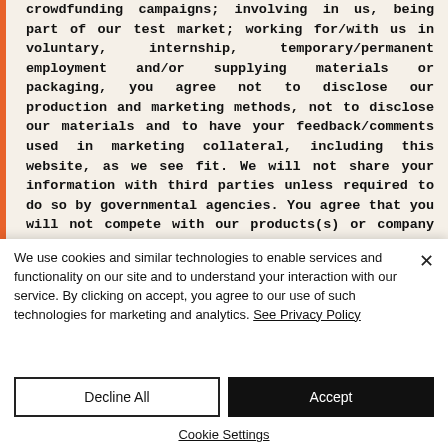crowdfunding campaigns; involving in us, being part of our test market; working for/with us in voluntary, internship, temporary/permanent employment and/or supplying materials or packaging, you agree not to disclose our production and marketing methods, not to disclose our materials and to have your feedback/comments used in marketing collateral, including this website, as we see fit. We will not share your information with third parties unless required to do so by governmental agencies. You agree that you will not compete with our products(s) or company in any capacity, nor will you work
We use cookies and similar technologies to enable services and functionality on our site and to understand your interaction with our service. By clicking on accept, you agree to our use of such technologies for marketing and analytics. See Privacy Policy
Decline All
Accept
Cookie Settings